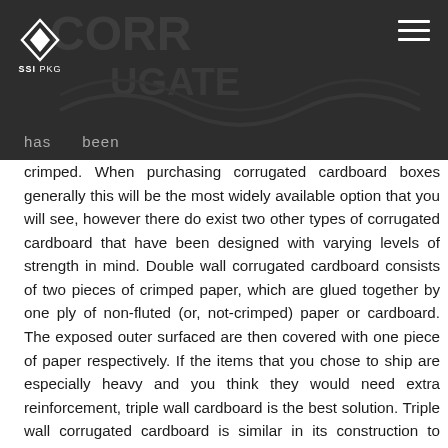SSI PKG
has     been crimped. When purchasing corrugated cardboard boxes generally this will be the most widely available option that you will see, however there do exist two other types of corrugated cardboard that have been designed with varying levels of strength in mind. Double wall corrugated cardboard consists of two pieces of crimped paper, which are glued together by one ply of non-fluted (or, not-crimped) paper or cardboard. The exposed outer surfaced are then covered with one piece of paper respectively. If the items that you chose to ship are especially heavy and you think they would need extra reinforcement, triple wall cardboard is the best solution. Triple wall corrugated cardboard is similar in its construction to double wall cardboard, with three plies of fluted paper instead of two. These layers of paper are